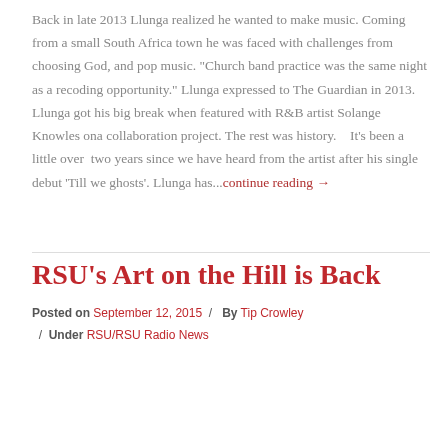Back in late 2013 Llunga realized he wanted to make music. Coming from a small South Africa town he was faced with challenges from choosing God, and pop music. "Church band practice was the same night as a recoding opportunity." Llunga expressed to The Guardian in 2013. Llunga got his big break when featured with R&B artist Solange Knowles ona collaboration project. The rest was history.    It's been a little over  two years since we have heard from the artist after his single debut 'Till we ghosts'. Llunga has...continue reading →
RSU's Art on the Hill is Back
Posted on September 12, 2015 / By Tip Crowley / Under RSU/RSU Radio News